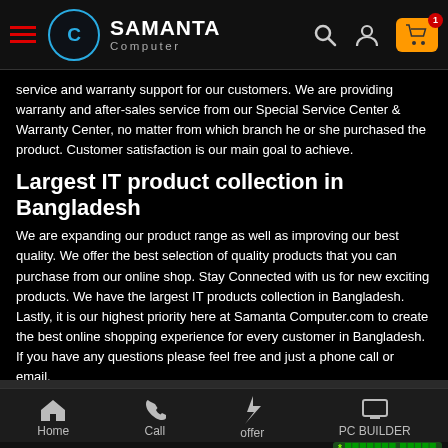Samanta Computer - navigation bar with logo, search, user, and cart icons
service and warranty support for our customers. We are providing warranty and after-sales service from our Special Service Center & Warranty Center, no matter from which branch he or she purchased the product. Customer satisfaction is our main goal to achieve.
Largest IT product collection in Bangladesh
We are expanding our product range as well as improving our best quality. We offer the best selection of quality products that you can purchase from our online shop. Stay Connected with us for new exciting products. We have the largest IT products collection in Bangladesh. Lastly, it is our highest priority here at Samanta Computer.com to create the best online shopping experience for every customer in Bangladesh. If you have any questions please feel free and just a phone call or email.
Best Laptop Shop in Bangladesh
Home | Call | offer | PC BUILDER